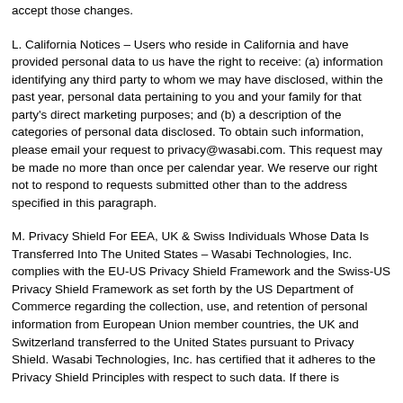accept those changes.
L. California Notices – Users who reside in California and have provided personal data to us have the right to receive: (a) information identifying any third party to whom we may have disclosed, within the past year, personal data pertaining to you and your family for that party's direct marketing purposes; and (b) a description of the categories of personal data disclosed. To obtain such information, please email your request to privacy@wasabi.com. This request may be made no more than once per calendar year. We reserve our right not to respond to requests submitted other than to the address specified in this paragraph.
M. Privacy Shield For EEA, UK & Swiss Individuals Whose Data Is Transferred Into The United States – Wasabi Technologies, Inc. complies with the EU-US Privacy Shield Framework and the Swiss-US Privacy Shield Framework as set forth by the US Department of Commerce regarding the collection, use, and retention of personal information from European Union member countries, the UK and Switzerland transferred to the United States pursuant to Privacy Shield. Wasabi Technologies, Inc. has certified that it adheres to the Privacy Shield Principles with respect to such data. If there is